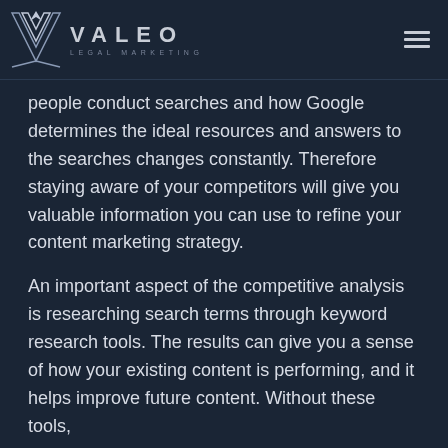VALEO LEGAL MARKETING
people conduct searches and how Google determines the ideal resources and answers to the searches changes constantly. Therefore staying aware of your competitors will give you valuable information you can use to refine your content marketing strategy.
An important aspect of the competitive analysis is researching search terms through keyword research tools. The results can give you a sense of how your existing content is performing, and it helps improve future content. Without these tools,